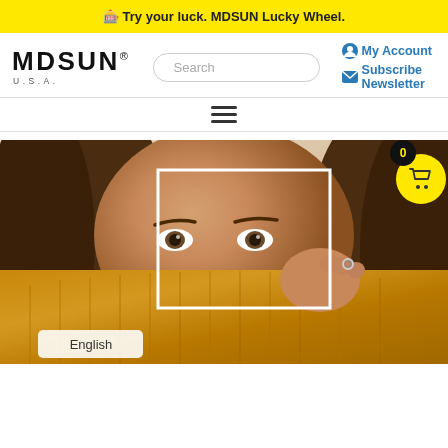🎰 Try your luck. MDSUN Lucky Wheel.
[Figure (logo): MDSUN U.S.A. logo in black bold text]
Search
My Account
Subscribe Newsletter
[Figure (other): Hamburger menu icon (three horizontal lines)]
[Figure (photo): Close-up photo of a young woman with brown hair peeking over a yellow/mustard knit sweater, eyes visible above the fabric, with a white rectangular border overlay in the center]
English
0